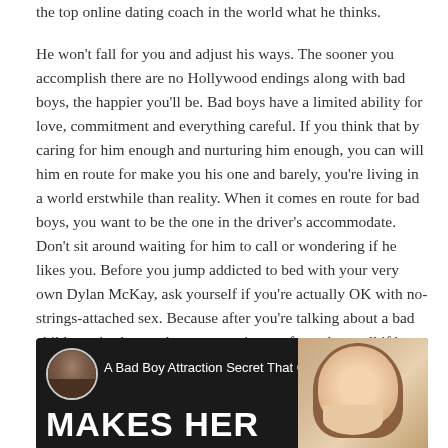the top online dating coach in the world what he thinks.

He won't fall for you and adjust his ways. The sooner you accomplish there are no Hollywood endings along with bad boys, the happier you'll be. Bad boys have a limited ability for love, commitment and everything careful. If you think that by caring for him enough and nurturing him enough, you can will him en route for make you his one and barely, you're living in a world erstwhile than reality. When it comes en route for bad boys, you want to be the one in the driver's accommodate. Don't sit around waiting for him to call or wondering if he likes you. Before you jump addicted to bed with your very own Dylan McKay, ask yourself if you're actually OK with no-strings-attached sex. Because after you're talking about a bad child, sex is almost always commitment-free, above all if he knows he can acquire away with it.
[Figure (screenshot): Video thumbnail with dark background showing a bearded man avatar on left, text 'A Bad Boy Attraction Secret That G...' in white, an orange arrow, three-dot menu icon, and bold white text 'MAKES HER' at the bottom. A woman's face is visible on the right side.]